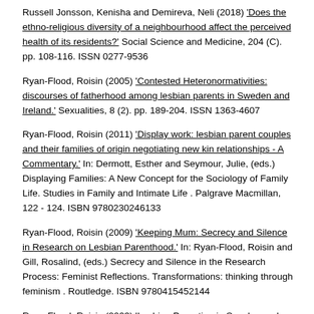Russell Jonsson, Kenisha and Demireva, Neli (2018) 'Does the ethno-religious diversity of a neighbourhood affect the perceived health of its residents?' Social Science and Medicine, 204 (C). pp. 108-116. ISSN 0277-9536
Ryan-Flood, Roisin (2005) 'Contested Heteronormativities: discourses of fatherhood among lesbian parents in Sweden and Ireland.' Sexualities, 8 (2). pp. 189-204. ISSN 1363-4607
Ryan-Flood, Roisin (2011) 'Display work: lesbian parent couples and their families of origin negotiating new kin relationships - A Commentary.' In: Dermott, Esther and Seymour, Julie, (eds.) Displaying Families: A New Concept for the Sociology of Family Life. Studies in Family and Intimate Life . Palgrave Macmillan, 122 - 124. ISBN 9780230246133
Ryan-Flood, Roisin (2009) 'Keeping Mum: Secrecy and Silence in Research on Lesbian Parenthood.' In: Ryan-Flood, Roisin and Gill, Rosalind, (eds.) Secrecy and Silence in the Research Process: Feminist Reflections. Transformations: thinking through feminism . Routledge. ISBN 9780415452144
Ryan-Flood, Roisin (2003) 'Lesbian Parenting in Sweden and Ireland: